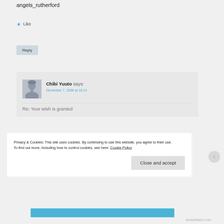angels_rutherford
★ Like
Reply
Chibi Yuuto says: December 7, 2008 at 18:14
Re: Your wish is granted
Privacy & Cookies: This site uses cookies. By continuing to use this website, you agree to their use.
To find out more, including how to control cookies, see here: Cookie Policy
Close and accept